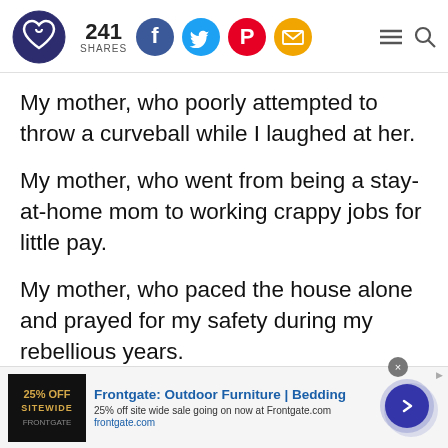241 SHARES — social share bar with Facebook, Twitter, Pinterest, Email icons
My mother, who poorly attempted to throw a curveball while I laughed at her.
My mother, who went from being a stay-at-home mom to working crappy jobs for little pay.
My mother, who paced the house alone and prayed for my safety during my rebellious years.
[Figure (screenshot): Advertisement banner: Frontgate Outdoor Furniture | Bedding. 25% off site wide sale going on now at Frontgate.com. frontgate.com]